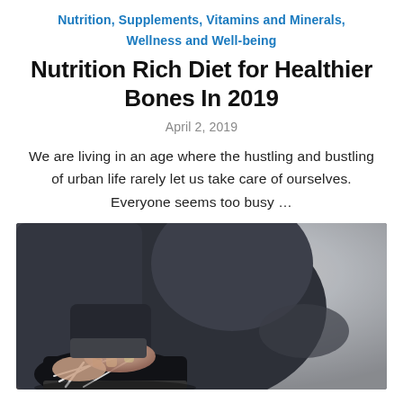Nutrition, Supplements, Vitamins and Minerals, Wellness and Well-being
Nutrition Rich Diet for Healthier Bones In 2019
April 2, 2019
We are living in an age where the hustling and bustling of urban life rarely let us take care of ourselves. Everyone seems too busy …
[Figure (photo): Person tying shoe laces on athletic shoes, wearing dark workout clothing, close-up shot]